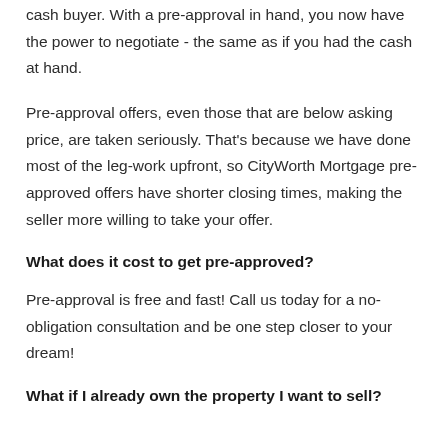cash buyer. With a pre-approval in hand, you now have the power to negotiate - the same as if you had the cash at hand.
Pre-approval offers, even those that are below asking price, are taken seriously. That's because we have done most of the leg-work upfront, so CityWorth Mortgage pre-approved offers have shorter closing times, making the seller more willing to take your offer.
What does it cost to get pre-approved?
Pre-approval is free and fast! Call us today for a no-obligation consultation and be one step closer to your dream!
What if I already own the property I want to sell?